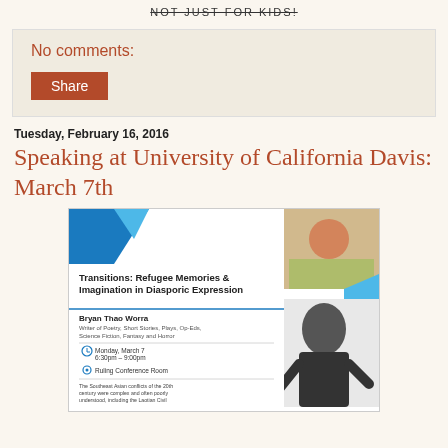NOT JUST FOR KIDS!
No comments:
Share
Tuesday, February 16, 2016
Speaking at University of California Davis: March 7th
[Figure (infographic): Event flyer for 'Transitions: Refugee Memories & Imagination in Diasporic Expression' featuring Bryan Thao Worra, Monday March 7, 6:30pm-9:00pm, Ruling Conference Room, with description of Southeast Asian conflicts and photo of speaker.]